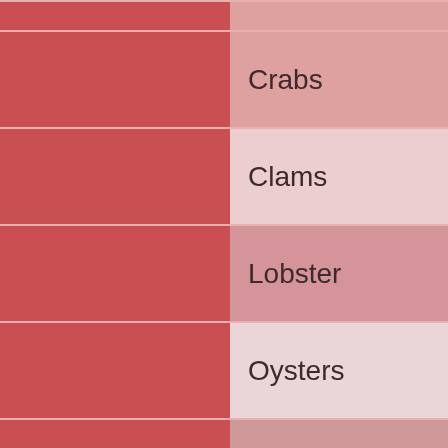[Figure (infographic): Color swatch grid with two columns. Left column shows solid dark red/crimson swatches. Right column shows lighter pink/rose swatches with seafood category labels: Crabs, Clams, Lobster, Oysters, Shrimp, and a partial row at top and bottom.]
Crabs
Clams
Lobster
Oysters
Shrimp